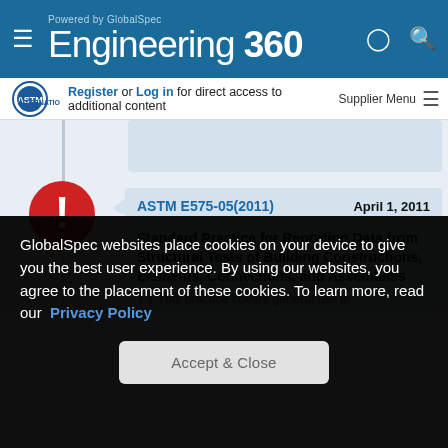Engineering 360 — Powered by GlobalSpec
Register or Log in for direct access to additional content | Supplier Menu
ASTM E575-05(2011)  April 1, 2011
Standard Practice for Reporting Data from Structural Tests of Building Constructions, Elements, Connections, and Assemblies
1.1 This practice covers general use in
GlobalSpec websites place cookies on your device to give you the best user experience. By using our websites, you agree to the placement of these cookies. To learn more, read our Privacy Policy
Accept & Close